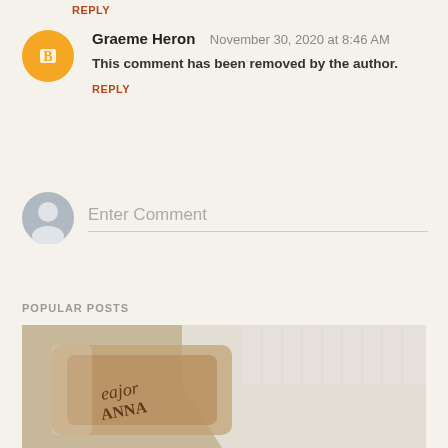REPLY
Graeme Heron  November 30, 2020 at 8:46 AM
This comment has been removed by the author.
REPLY
Enter Comment
POPULAR POSTS
[Figure (photo): Photo of a packaged food item labeled 'Cajor ANNA' on a wire rack with white paper/packaging]